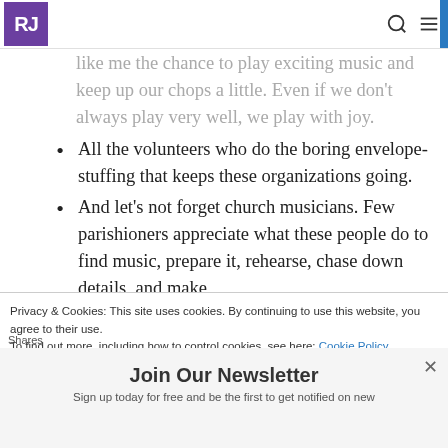RJ
like me the chance to play exciting music and keep up our chops a little. Even if we don't always play very well, we play with joy.
All the volunteers who do the boring envelope-stuffing that keeps these organizations going.
And let's not forget church musicians. Few parishioners appreciate what these people do to find music, prepare it, rehearse, chase down details, and make
Privacy & Cookies: This site uses cookies. By continuing to use this website, you agree to their use. To find out more, including how to control cookies, see here: Cookie Policy
Join Our Newsletter
Sign up today for free and be the first to get notified on new
Shares